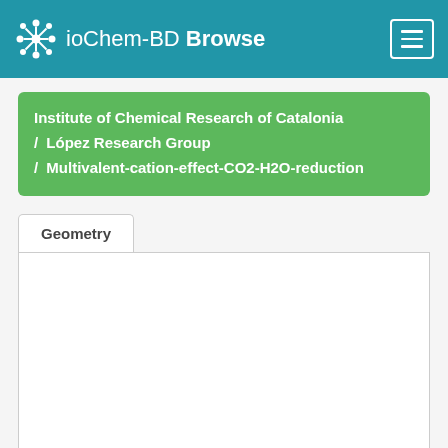ioChem-BD Browse
Institute of Chemical Research of Catalonia / López Research Group / Multivalent-cation-effect-CO2-H2O-reduction
Geometry